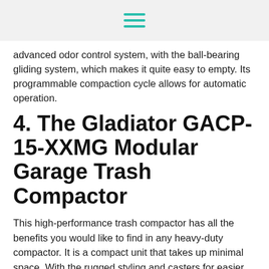[hamburger menu icon]
advanced odor control system, with the ball-bearing gliding system, which makes it quite easy to empty. Its programmable compaction cycle allows for automatic operation.
4. The Gladiator GACP-15-XXMG Modular Garage Trash Compactor
This high-performance trash compactor has all the benefits you would like to find in any heavy-duty compactor. It is a compact unit that takes up minimal space. With the rugged styling and casters for easier mobility, the unit reduces the volume of trash, which helps you to cut down on the trash bags as well as reduce your trips to the curb. The compactor